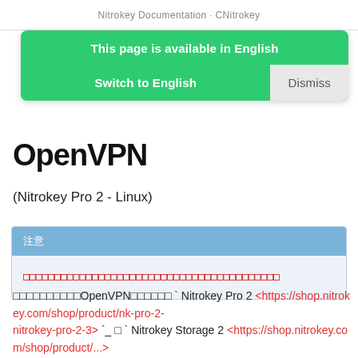Nitrokey Documentation - CNitrokey
This page is available in English
Switch to English
Dismiss
OpenVPN
(Nitrokey Pro 2 - Linux)
注意
□□□□□□□□□□□□□□□□□□□□□□□□□□□□□□□□□□□□□□□□
□□□□□□□□□□OpenVPN□□□□□□ ` Nitrokey Pro 2 <https://shop.nitrokey.com/shop/product/nk-pro-2-nitrokey-pro-2-3> `_ □ ` Nitrokey Storage 2 <https://shop.nitrokey.com/shop/product/...